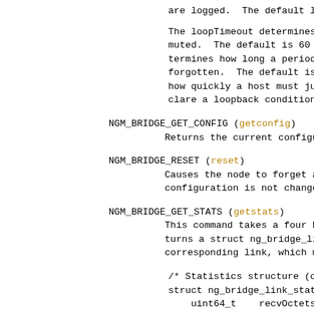are logged.  The default level is 1.
The loopTimeout determines how long (in
muted.  The default is 60 seconds.  The
termines how long a period of inactivity
forgotten.  The default is 15 minutes.
how quickly a host must jump from one li
clare a loopback condition.  The default
NGM_BRIDGE_GET_CONFIG (getconfig)
        Returns the current configuration as a s
NGM_BRIDGE_RESET (reset)
        Causes the node to forget all hosts and
        configuration is not changed.
NGM_BRIDGE_GET_STATS (getstats)
        This command takes a four byte link numb
        turns a struct ng_bridge_link_stats cont
        corresponding link, which must be curren
/* Statistics structure (one for each li
struct ng_bridge_link_stats {
    uint64_t    recvOctets;      /* total oc
    uint64_t    recvPackets;     /* total pk
    uint64_t    recvMulticasts;  /* multicas
    uint64_t    recvBroadcasts;  /* broadcas
    uint64_t    recvUnknown;     /* pkts rec